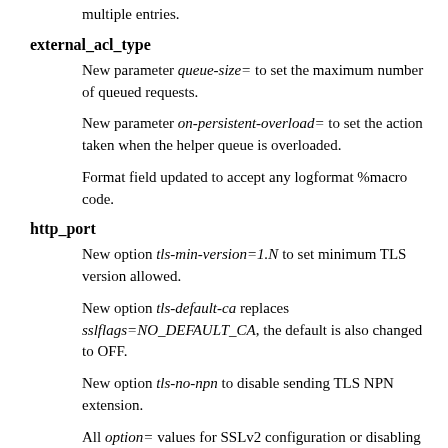multiple entries.
external_acl_type
New parameter queue-size= to set the maximum number of queued requests.
New parameter on-persistent-overload= to set the action taken when the helper queue is overloaded.
Format field updated to accept any logformat %macro code.
http_port
New option tls-min-version=1.N to set minimum TLS version allowed.
New option tls-default-ca replaces sslflags=NO_DEFAULT_CA, the default is also changed to OFF.
New option tls-no-npn to disable sending TLS NPN extension.
All option= values for SSLv2 configuration or disabling have been removed.